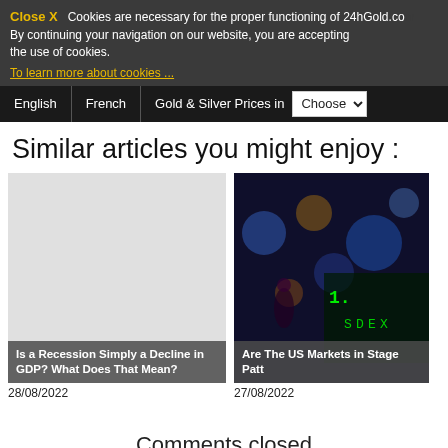Close X  Cookies are necessary for the proper functioning of 24hGold.com. By continuing your navigation on our website, you are accepting the use of cookies.
To learn more about cookies ...
English | French | Gold & Silver Prices in | Choose
Similar articles you might enjoy :
[Figure (photo): Blank/placeholder image for article: Is a Recession Simply a Decline in GDP? What Does That Mean?]
Is a Recession Simply a Decline in GDP? What Does That Mean?
28/08/2022
[Figure (photo): Stock market display board with colorful lights and numbers, article: Are The US Markets in Stage Patt]
Are The US Markets in Stage Patt
27/08/2022
Comments closed